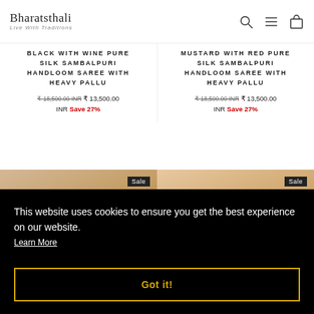Bharatsthali — Live With Traditions
BLACK WITH WINE PURE SILK SAMBALPURI HANDLOOM SAREE WITH HEAVY PALLU
₹ 18,500.00 INR ₹ 13,500.00 INR Save 27%
MUSTARD WITH RED PURE SILK SAMBALPURI HANDLOOM SAREE WITH HEAVY PALLU
₹ 18,500.00 INR ₹ 13,500.00 INR Save 27%
[Figure (photo): Two product photos of silk sarees with Sale badges]
This website uses cookies to ensure you get the best experience on our website. Learn More
Got it!